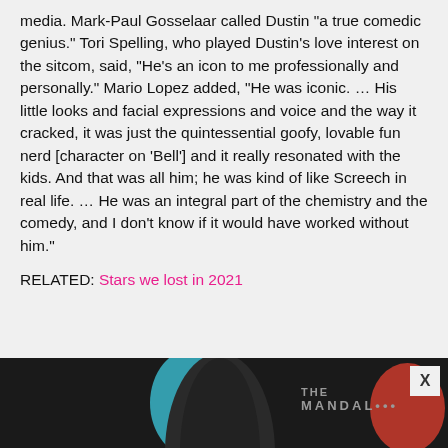media. Mark-Paul Gosselaar called Dustin "a true comedic genius." Tori Spelling, who played Dustin's love interest on the sitcom, said, "He's an icon to me professionally and personally." Mario Lopez added, "He was iconic. … His little looks and facial expressions and voice and the way it cracked, it was just the quintessential goofy, lovable fun nerd [character on 'Bell'] and it really resonated with the kids. And that was all him; he was kind of like Screech in real life. … He was an integral part of the chemistry and the comedy, and I don't know if it would have worked without him."
RELATED: Stars we lost in 2021
[Figure (photo): Advertisement banner at bottom of page showing a dark background with a figure, a blue circular element, red circular element, and partial text reading 'THE MANDALORIAN' with an X close button in top right corner.]